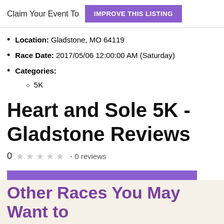Claim Your Event To  IMPROVE THIS LISTING
Location: Gladstone, MO 64119
Race Date: 2017/05/06 12:00:00 AM (Saturday)
Categories:
5K
Heart and Sole 5K - Gladstone Reviews
0 - 0 reviews
BE THE FIRST TO REVIEW HEART AND SOLE 5K - GLADSTONE
Other Races You May Want to